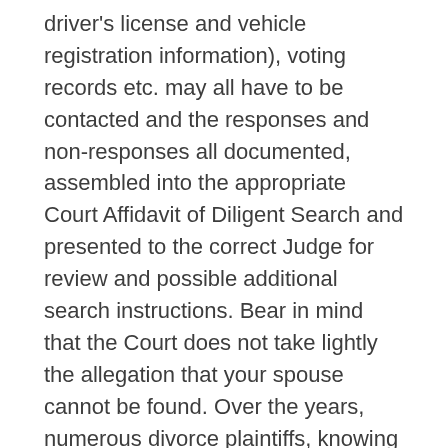driver's license and vehicle registration information), voting records etc. may all have to be contacted and the responses and non-responses all documented, assembled into the appropriate Court Affidavit of Diligent Search and presented to the correct Judge for review and possible additional search instructions. Bear in mind that the Court does not take lightly the allegation that your spouse cannot be found. Over the years, numerous divorce plaintiffs, knowing their spouses would contest, have lied to the Court while knowing exactly where their spouses were. After the search is completed to the Court's satisfaction, the Judge is likely to order that